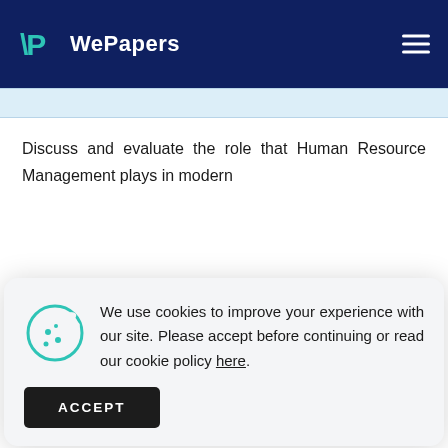WePapers
Discuss and evaluate the role that Human Resource Management plays in modern
We use cookies to improve your experience with our site. Please accept before continuing or read our cookie policy here.
ACCEPT
based on hierarchy. They were the bureaucratic organizations which were formal in nature and bounded with too many rules and regulations. The main focus of traditional